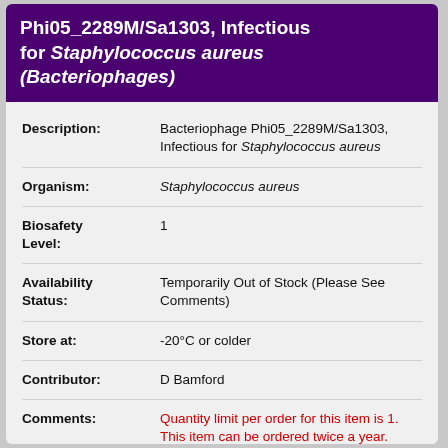Phi05_2289M/Sa1303, Infectious for Staphylococcus aureus (Bacteriophages)
Description: Bacteriophage Phi05_2289M/Sa1303, Infectious for Staphylococcus aureus
Organism: Staphylococcus aureus
Biosafety Level: 1
Availability Status: Temporarily Out of Stock (Please See Comments)
Store at: -20°C or colder
Contributor: D Bamford
Comments: Quantity limit per order for this item is 1. This item can be ordered twice a year. Orders over this limit will be sent to NIAID for approval before shipment. This item is currently in our production queue. Please allow ample time for distribution lots to be made available